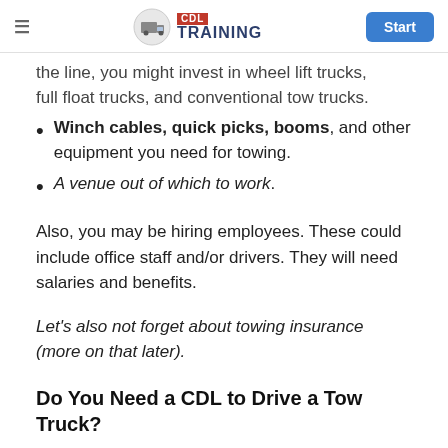CDL TRAINING | Start
the line, you might invest in wheel lift trucks, full float trucks, and conventional tow trucks.
Winch cables, quick picks, booms, and other equipment you need for towing.
A venue out of which to work.
Also, you may be hiring employees. These could include office staff and/or drivers. They will need salaries and benefits.
Let's also not forget about towing insurance (more on that later).
Do You Need a CDL to Drive a Tow Truck?